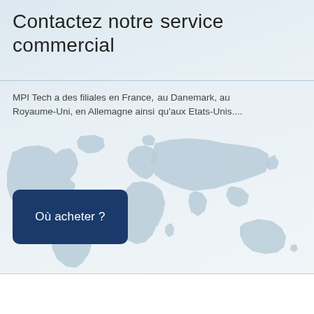Contactez notre service commercial
MPI Tech a des filiales en France, au Danemark, au Royaume-Uni, en Allemagne ainsi qu'aux Etats-Unis....
[Figure (map): World map silhouette in light blue-grey showing all continents, overlaid on a light blue gradient background.]
Où acheter ?